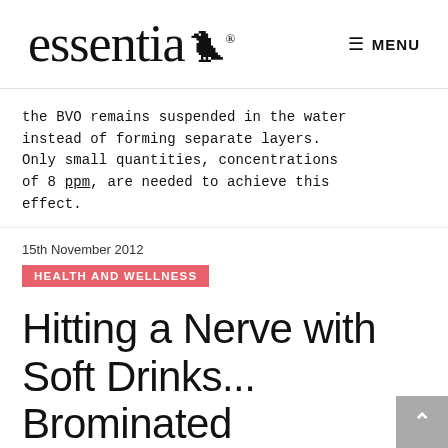essentia MENU
the BVO remains suspended in the water instead of forming separate layers. Only small quantities, concentrations of 8 ppm, are needed to achieve this effect.
15th November 2012
HEALTH AND WELLNESS
Hitting a Nerve with Soft Drinks... Brominated Vegetable Oil? Yuck!